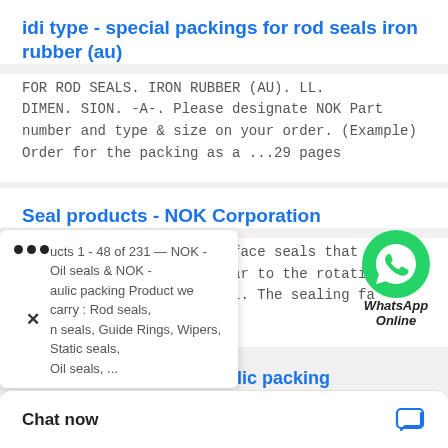idi type - special packings for rod seals iron rubber (au)
FOR ROD SEALS. IRON RUBBER (AU). LL. DIMEN. SION. -A-. Please designate NOK Part number and type & size on your order. (Example) Order for the packing as a ...29 pages
Seal products - NOK Corporation
Mechanical seals are end-face seals that pair of faces perpendicular to the rotating (sliding surfaces) to seal. The sealing fa smoothly ...
[Figure (logo): WhatsApp Online green circle icon with phone handset, labeled WhatsApp Online]
Oil seals & NOK - Hydraulic packing
ucts 1 - 48 of 231 — NOK - Oil seals & NOK - aulic packing Product we carry : Rod seals, n seals, Guide Rings, Wipers, Static seals, Oil seals, ...
Chat now